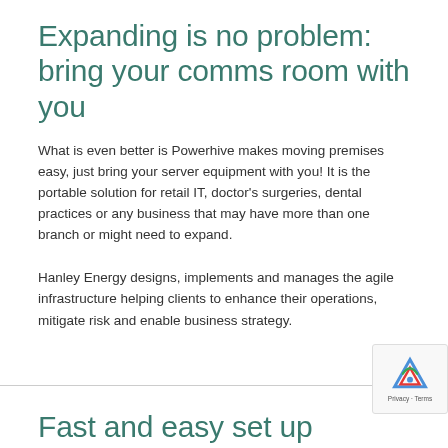Expanding is no problem: bring your comms room with you
What is even better is Powerhive makes moving premises easy, just bring your server equipment with you! It is the portable solution for retail IT, doctor's surgeries, dental practices or any business that may have more than one branch or might need to expand.
Hanley Energy designs, implements and manages the agile infrastructure helping clients to enhance their operations, mitigate risk and enable business strategy.
Fast and easy set up